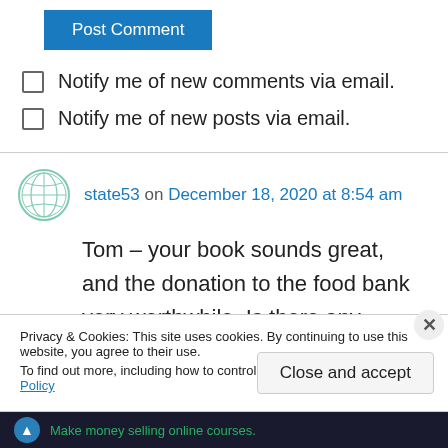[Figure (other): Blue 'Post Comment' button]
Notify me of new comments via email.
Notify me of new posts via email.
state53 on December 18, 2020 at 8:54 am
Tom – your book sounds great, and the donation to the food bank very worthwhile. Is there any chance we could get it in “e” format? For many
Privacy & Cookies: This site uses cookies. By continuing to use this website, you agree to their use.
To find out more, including how to control cookies, see here: Cookie Policy
Close and accept
Make money selling online courses.